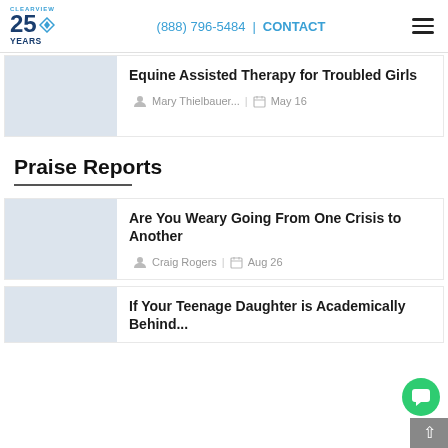CLEARVIEW 25 YEARS | (888) 796-5484 | CONTACT
Equine Assisted Therapy for Troubled Girls
Mary Thielbauer | May 16
Praise Reports
Are You Weary Going From One Crisis to Another
Craig Rogers | Aug 26
If Your Teenage Daughter is Academically Behind